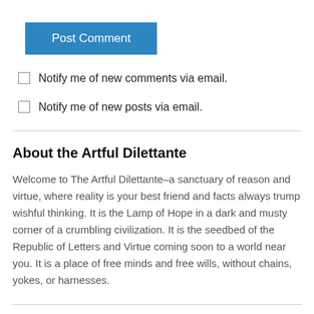Post Comment
Notify me of new comments via email.
Notify me of new posts via email.
About the Artful Dilettante
Welcome to The Artful Dilettante–a sanctuary of reason and virtue, where reality is your best friend and facts always trump wishful thinking. It is the Lamp of Hope in a dark and musty corner of a crumbling civilization. It is the seedbed of the Republic of Letters and Virtue coming soon to a world near you. It is a place of free minds and free wills, without chains, yokes, or harnesses.
Categories